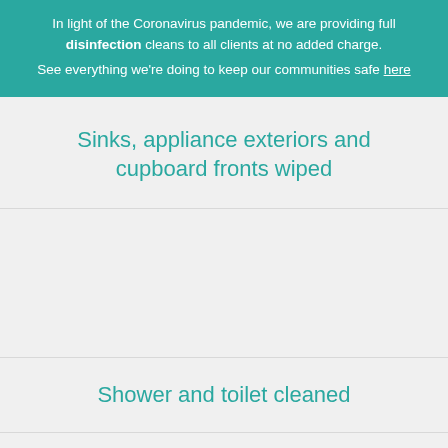In light of the Coronavirus pandemic, we are providing full disinfection cleans to all clients at no added charge. See everything we're doing to keep our communities safe here
Sinks, appliance exteriors and cupboard fronts wiped
[Figure (other): Empty space placeholder for an image]
Shower and toilet cleaned
[Figure (other): Empty space placeholder for an image]